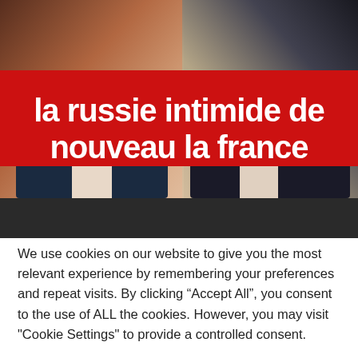[Figure (photo): Two people (faces/busts) side by side against a dark background, with a red headline banner overlaid on the bottom portion of the photo reading 'la russie intimide de nouveau la france']
la russie intimide de nouveau la france
We use cookies on our website to give you the most relevant experience by remembering your preferences and repeat visits. By clicking “Accept All”, you consent to the use of ALL the cookies. However, you may visit "Cookie Settings" to provide a controlled consent.